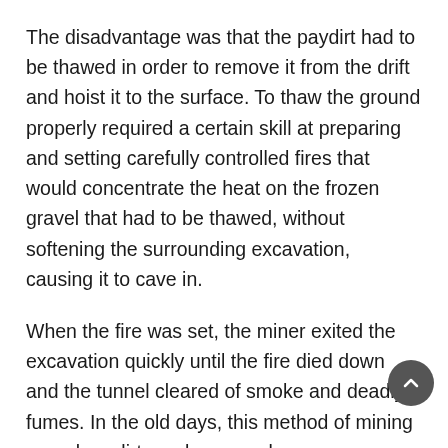The disadvantage was that the paydirt had to be thawed in order to remove it from the drift and hoist it to the surface. To thaw the ground properly required a certain skill at preparing and setting carefully controlled fires that would concentrate the heat on the frozen gravel that had to be thawed, without softening the surrounding excavation, causing it to cave in.
When the fire was set, the miner exited the excavation quickly until the fire died down and the tunnel cleared of smoke and deadly fumes. In the old days, this method of mining was slow, dirty, arduous work.
Once the riches of the Klondike were realized, miners started importing steam boilers and steam-powered machinery. These devices reduced the amount of hand